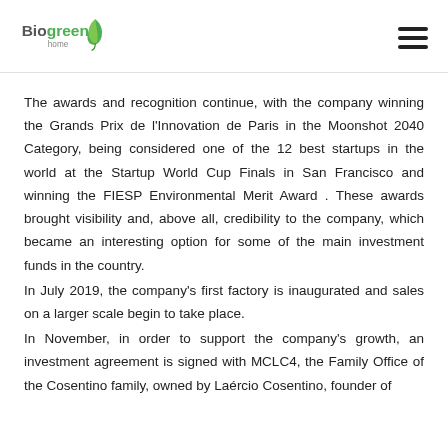Biogreen home [logo] [hamburger menu]
The awards and recognition continue, with the company winning the Grands Prix de l'Innovation de Paris in the Moonshot 2040 Category, being considered one of the 12 best startups in the world at the Startup World Cup Finals in San Francisco and winning the FIESP Environmental Merit Award . These awards brought visibility and, above all, credibility to the company, which became an interesting option for some of the main investment funds in the country.
In July 2019, the company's first factory is inaugurated and sales on a larger scale begin to take place.
In November, in order to support the company's growth, an investment agreement is signed with MCLC4, the Family Office of the Cosentino family, owned by Laércio Cosentino, founder of